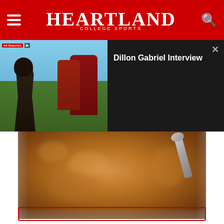Heartland College Sports
[Figure (screenshot): Video player showing Dillon Gabriel Interview — thumbnail of football player on left, dark panel with title on right]
[Figure (photo): Close-up photo of a glass jar filled with golden-brown spice powder with a metal scoop]
A TEASPOON ON AN EMPTY STOMACH DROPS BODY WEIGHT LIKE CRAZY!
By Trending New Finds